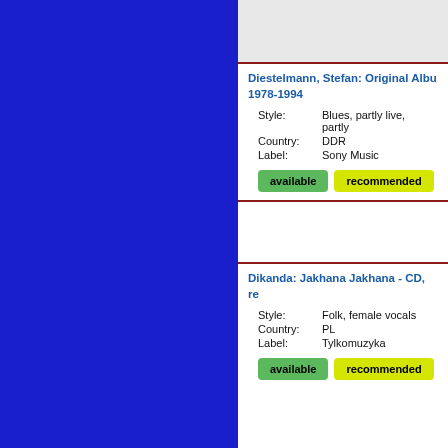Diestelmann, Stefan: Original Album 1978-1994
Style: Blues, partly live, partly
Country: DDR
Label: Sony Music
available   recommended
Dikanda: Jakhana Jakhana - CD, re
Style: Folk, female vocals
Country: PL
Label: Tylkomuzyka
available   recommended